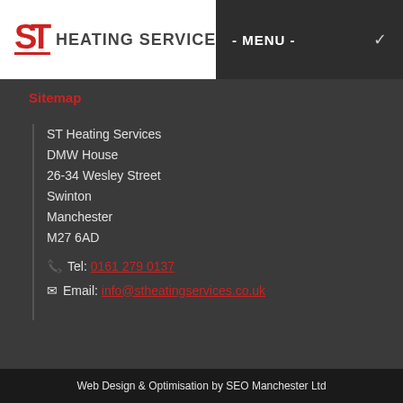[Figure (logo): ST Heating Services Ltd logo with red stylized ST letters and bold grey text HEATING SERVICES LTD]
Sitemap
ST Heating Services
DMW House
26-34 Wesley Street
Swinton
Manchester
M27 6AD
Tel: 0161 279 0137
Email: info@stheatingservices.co.uk
Web Design & Optimisation by SEO Manchester Ltd